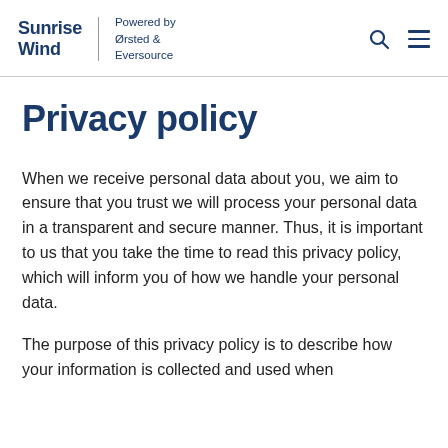Sunrise Wind | Powered by Ørsted & Eversource
Privacy policy
When we receive personal data about you, we aim to ensure that you trust we will process your personal data in a transparent and secure manner. Thus, it is important to us that you take the time to read this privacy policy, which will inform you of how we handle your personal data.
The purpose of this privacy policy is to describe how your information is collected and used when